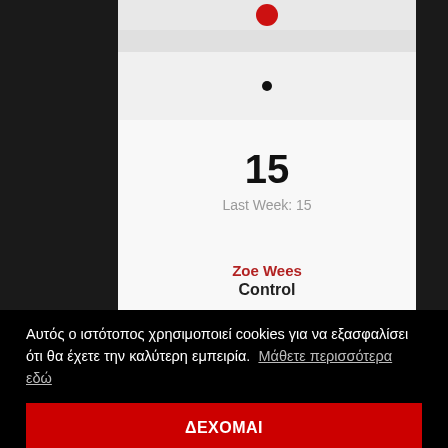[Figure (screenshot): Red circular icon at top of chart entry]
•
15
Last Week: 15
Zoe Wees
Control
Αυτός ο ιστότοπος χρησιμοποιεί cookies για να εξασφαλίσει ότι θα έχετε την καλύτερη εμπειρία.  Μάθετε περισσότερα εδώ
ΔΕΧΟΜΑΙ
Last Week: 17